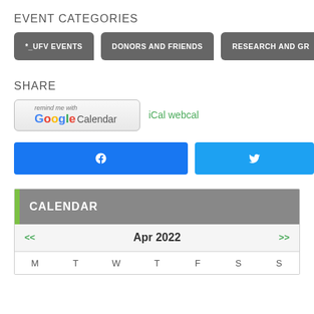EVENT CATEGORIES
*_UFV EVENTS
DONORS AND FRIENDS
RESEARCH AND GR...
SHARE
[Figure (screenshot): Google Calendar 'remind me with' button and iCal webcal link]
[Figure (screenshot): Facebook share button and Twitter share button]
CALENDAR
| M | T | W | T | F | S | S |
| --- | --- | --- | --- | --- | --- | --- |